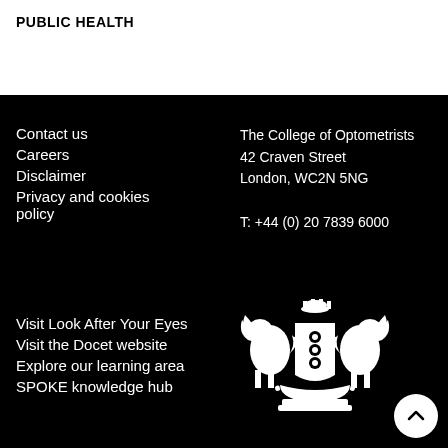PUBLIC HEALTH
Contact us
Careers
Disclaimer
Privacy and cookies policy
The College of Optometrists
42 Craven Street
London, WC2N 5NG

T: +44 (0) 20 7839 6000
Visit Look After Your Eyes
Visit the Docet website
Explore our learning area
SPOKE knowledge hub
[Figure (logo): College of Optometrists heraldic crest in white on black background, showing two lion-like creatures flanking a shield with decorative crown on top]